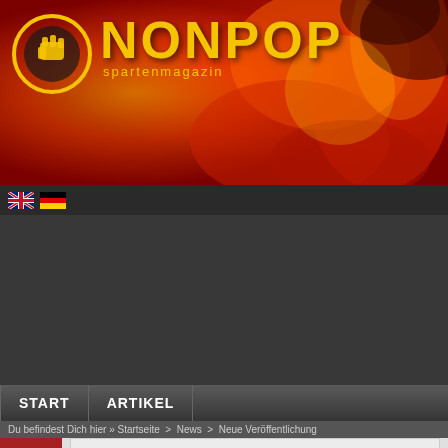[Figure (screenshot): NONPOP Spartenmagazin website header banner with fire/explosion background in red and orange tones, featuring the NONPOP logo in yellow with circular emblem]
NONPOP spartenmagazin
Du befindest Dich hier » Startseite > News > Neue Veröffentlichung
03-06-2014, 15:46 | Michael We.
TREPANERINGSRITUALEN Ende Juni mit
[Figure (screenshot): Soundcloud embedded player widget showing the Soundcloud logo (cloud with sound waves) and the word SOUNDCLOUD]